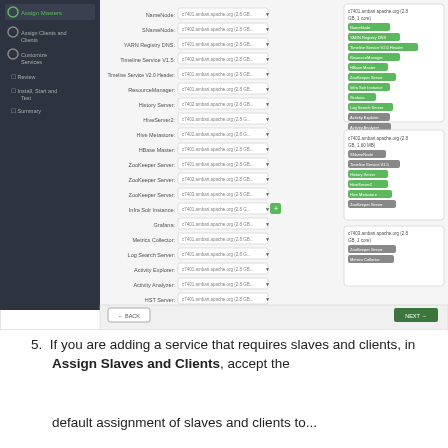[Figure (screenshot): Apache Ambari web UI screenshot showing 'Assign Masters' step. Left sidebar shows wizard steps: Assign Masters (highlighted), Assign Clients and Hosts, Customize Services, Review, Install, Start and Test, Summary. Main area shows a form with service-to-host assignments: NameNode, SNameNode, YARN Registry DNS, Timeline Service V1.5, Timeline Service V2.0 Header, ResourceManager, History Server, HiveServer2, Hive Metastore, HBase Master, ZooKeeper Server (x3), Infra Solr Instance, Grafana, Metrics Collector, Log Search Server, Activity Explorer, Activity Analyzer, HST Server — each with a dropdown showing a host like c7401.ambari.apache.org (2.8 GB...). Right panel shows three host summary boxes: c7401.ambari.apache.org (2.8 GB, 1 core), c7402.ambari.apache.org (2.8 GB, 1.60 MB), c7403.ambari.apache.org (2.8 GB, 1 core), each listing assigned services as green/white badge pills. Bottom bar shows BACK and NEXT buttons.]
5. If you are adding a service that requires slaves and clients, in Assign Slaves and Clients, accept the default assignment of slaves and clients to...